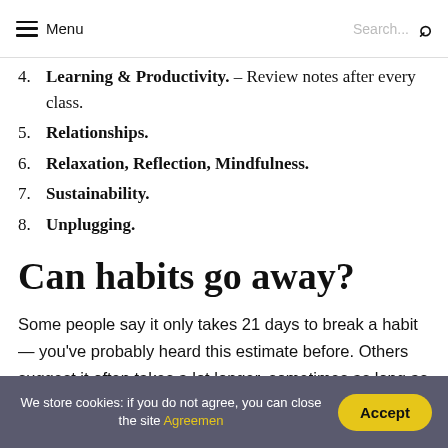Menu   Search...
4.  Learning & Productivity. – Review notes after every class.
5.  Relationships.
6.  Relaxation, Reflection, Mindfulness.
7.  Sustainability.
8.  Unplugging.
Can habits go away?
Some people say it only takes 21 days to break a habit — you've probably heard this estimate before. Others suggest it often takes a lot longer, sometimes as long as several
We store cookies: if you do not agree, you can close the site Agreemen   Accept